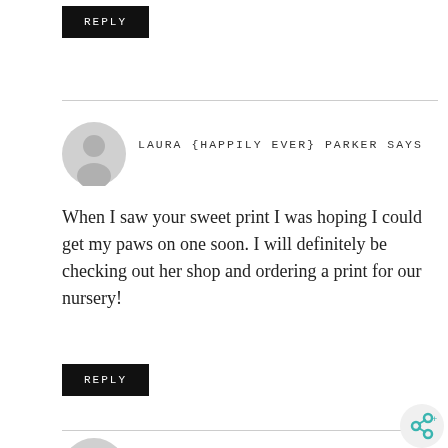REPLY
LAURA {HAPPILY EVER} PARKER SAYS
When I saw your sweet print I was hoping I could get my paws on one soon. I will definitely be checking out her shop and ordering a print for our nursery!
REPLY
LISA LOVES JOHN SAYS